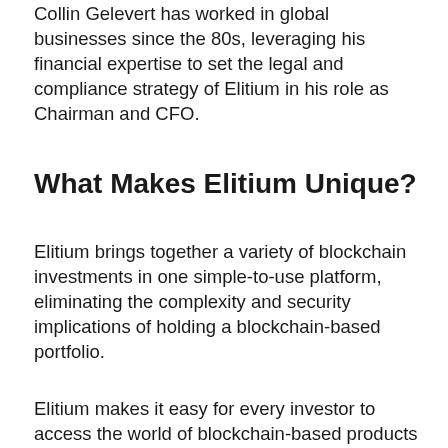Collin Gelevert has worked in global businesses since the 80s, leveraging his financial expertise to set the legal and compliance strategy of Elitium in his role as Chairman and CFO.
What Makes Elitium Unique?
Elitium brings together a variety of blockchain investments in one simple-to-use platform, eliminating the complexity and security implications of holding a blockchain-based portfolio.
Elitium makes it easy for every investor to access the world of blockchain-based products and grow their wealth in a straightforward, streamlined, and secure